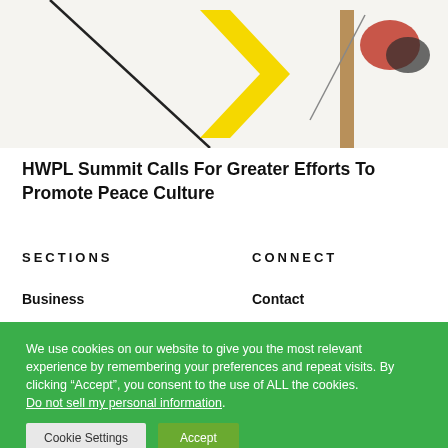[Figure (photo): Partial view of an art installation or exhibit with geometric shapes including a yellow arrow-like form and a wooden post with flowers, against a white background.]
HWPL Summit Calls For Greater Efforts To Promote Peace Culture
SECTIONS
CONNECT
Business
Contact
We use cookies on our website to give you the most relevant experience by remembering your preferences and repeat visits. By clicking “Accept”, you consent to the use of ALL the cookies. Do not sell my personal information.
Cookie Settings | Accept